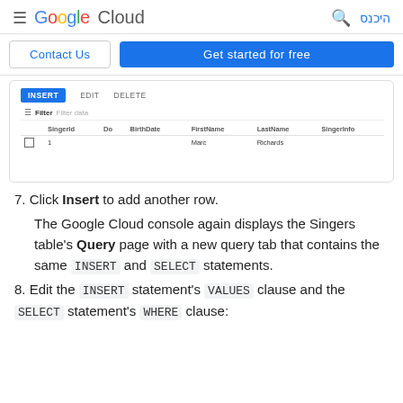Google Cloud — היכנס
[Figure (screenshot): Google Cloud console showing a database table UI with INSERT, EDIT, DELETE tabs, a Filter row, and a table with columns SingerId, Do, BirthDate, FirstName, LastName, SingerInfo. One data row shows: 1, Marc, Richards.]
7. Click Insert to add another row.
The Google Cloud console again displays the Singers table's Query page with a new query tab that contains the same INSERT and SELECT statements.
8. Edit the INSERT statement's VALUES clause and the SELECT statement's WHERE clause: